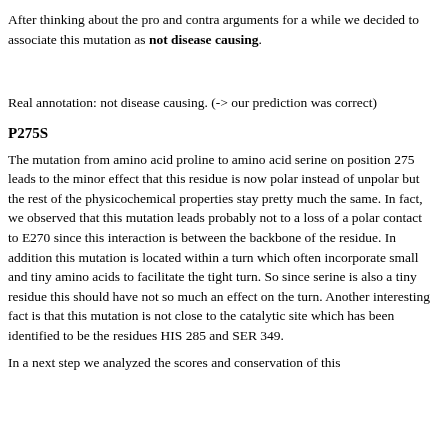After thinking about the pro and contra arguments for a while we decided to associate this mutation as not disease causing.
Real annotation: not disease causing. (-> our prediction was correct)
P275S
The mutation from amino acid proline to amino acid serine on position 275 leads to the minor effect that this residue is now polar instead of unpolar but the rest of the physicochemical properties stay pretty much the same. In fact, we observed that this mutation leads probably not to a loss of a polar contact to E270 since this interaction is between the backbone of the residue. In addition this mutation is located within a turn which often incorporate small and tiny amino acids to facilitate the tight turn. So since serine is also a tiny residue this should have not so much an effect on the turn. Another interesting fact is that this mutation is not close to the catalytic site which has been identified to be the residues HIS 285 and SER 349.
In a next step we analyzed the scores and conservation of this